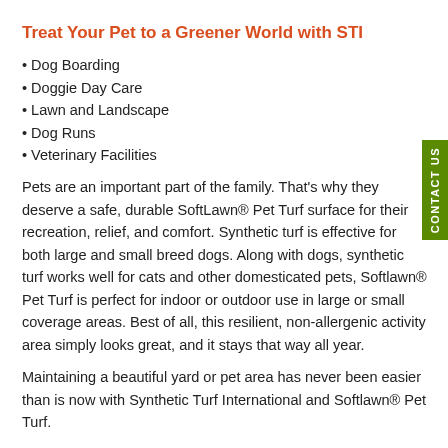Treat Your Pet to a Greener World with STI
Dog Boarding
Doggie Day Care
Lawn and Landscape
Dog Runs
Veterinary Facilities
Pets are an important part of the family. That's why they deserve a safe, durable SoftLawn® Pet Turf surface for their recreation, relief, and comfort. Synthetic turf is effective for both large and small breed dogs. Along with dogs, synthetic turf works well for cats and other domesticated pets, Softlawn® Pet Turf is perfect for indoor or outdoor use in large or small coverage areas. Best of all, this resilient, non-allergenic activity area simply looks great, and it stays that way all year.
Maintaining a beautiful yard or pet area has never been easier than is now with Synthetic Turf International and Softlawn® Pet Turf.